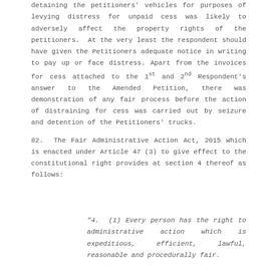detaining the petitioners' vehicles for purposes of levying distress for unpaid cess was likely to adversely affect the property rights of the petitioners. At the very least the respondent should have given the Petitioners adequate notice in writing to pay up or face distress. Apart from the invoices for cess attached to the 1st and 2nd Respondent's answer to the Amended Petition, there was demonstration of any fair process before the action of distraining for cess was carried out by seizure and detention of the Petitioners' trucks.
82. The Fair Administrative Action Act, 2015 which is enacted under Article 47 (3) to give effect to the constitutional right provides at section 4 thereof as follows:
"4. (1) Every person has the right to administrative action which is expeditious, efficient, lawful, reasonable and procedurally fair.